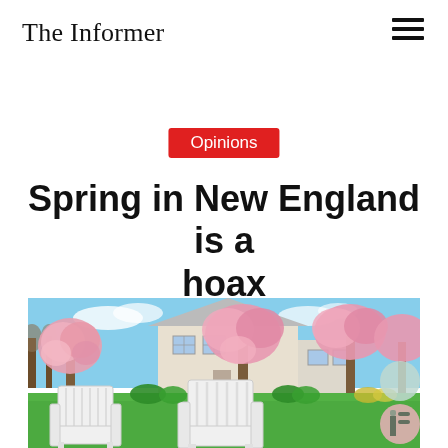The Informer
Opinions
Spring in New England is a hoax
[Figure (photo): A scenic New England spring scene with white Adirondack chairs on a green lawn in front of a white house surrounded by blooming pink cherry blossom trees under a blue sky.]